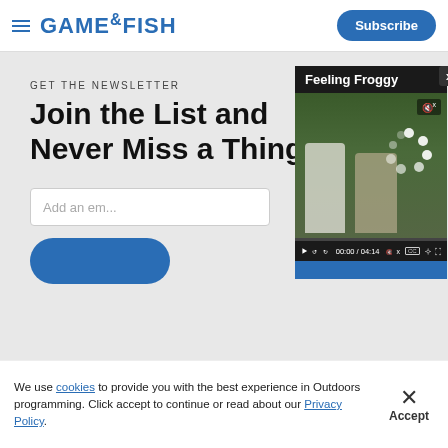GAME&FISH | Subscribe
GET THE NEWSLETTER
Join the List and Never Miss a Thing
Add an email address
[Figure (screenshot): Video player popup showing 'Feeling Froggy' with two people outdoors, video controls showing 00:00 / 04:14, mute button, CC, settings, and fullscreen icons]
We use cookies to provide you with the best experience in Outdoors programming. Click accept to continue or read about our Privacy Policy.